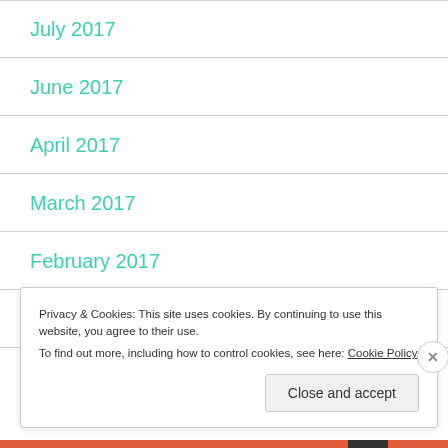July 2017
June 2017
April 2017
March 2017
February 2017
January 2017
Privacy & Cookies: This site uses cookies. By continuing to use this website, you agree to their use.
To find out more, including how to control cookies, see here: Cookie Policy
Close and accept